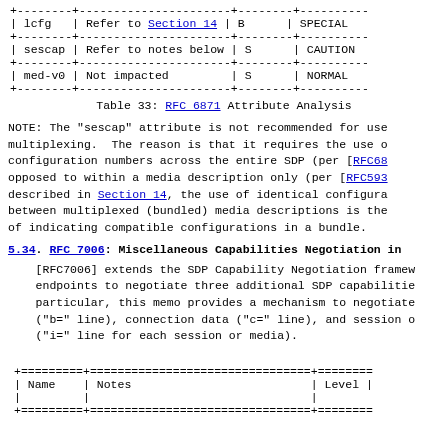| Name | Notes | Level | Usage |
| --- | --- | --- | --- |
| lcfg | Refer to Section 14 | B | SPECIAL |
| sescap | Refer to notes below | S | CAUTION |
| med-v0 | Not impacted | S | NORMAL |
Table 33: RFC 6871 Attribute Analysis
NOTE: The "sescap" attribute is not recommended for use with multiplexing. The reason is that it requires the use of configuration numbers across the entire SDP (per [RFC6871]) as opposed to within a media description only (per [RFC5939]). As described in Section 14, the use of identical configuration numbers between multiplexed (bundled) media descriptions is the mechanism of indicating compatible configurations in a bundle.
5.34. RFC 7006: Miscellaneous Capabilities Negotiation in SDP
[RFC7006] extends the SDP Capability Negotiation framework to allow endpoints to negotiate three additional SDP capabilities. In particular, this memo provides a mechanism to negotiate bandwidth ("b=" line), connection data ("c=" line), and session or media title ("i=" line for each session or media).
| Name | Notes | Level |
| --- | --- | --- |